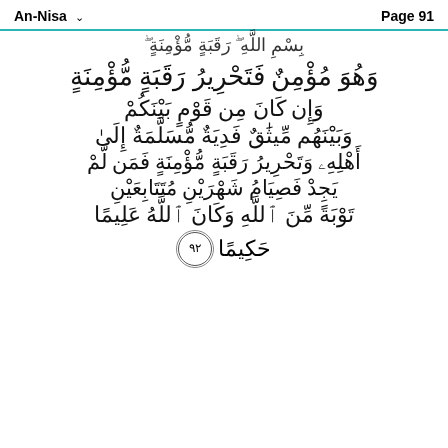An-Nisa   Page 91
وَهُوَ مُؤْمِنٌ فَتَحْرِيرُ رَقَبَةٍ مُّؤْمِنَةٍ
وَإِن كَانَ مِن قَوْمٍ بَيْنَكُمْ
وَبَيْنَهُم مِّيثَٰقٌ فَدِيَةٌ مُّسَلَّمَةٌ إِلَىٰٓ
أَهْلِهِۦ وَتَحْرِيرُ رَقَبَةٍ مُّؤْمِنَةٍ فَمَن لَّمْ
يَجِدْ فَصِيَامُ شَهْرَيْنِ مُتَتَابِعَيْنِ
تَوْبَةً مِّنَ ٱللَّهِ وَكَانَ ٱللَّهُ عَلِيمًا
حَكِيمًا ٩٢